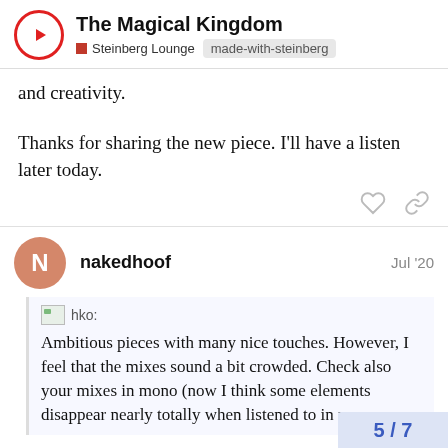The Magical Kingdom | Steinberg Lounge | made-with-steinberg
and creativity.
Thanks for sharing the new piece. I'll have a listen later today.
nakedhoof — Jul '20
hko: Ambitious pieces with many nice touches. However, I feel that the mixes sound a bit crowded. Check also your mixes in mono (now I think some elements disappear nearly totally when listened to in mon
5 / 7